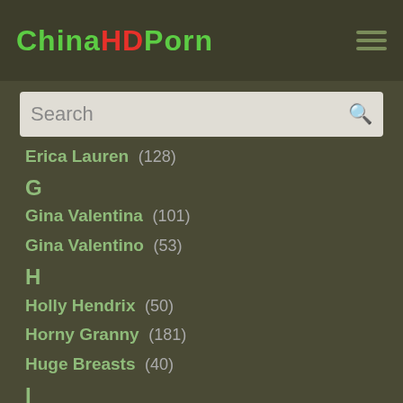ChinaHDPorn
G
Erica Lauren (128)
G
Gina Valentina (101)
Gina Valentino (53)
H
Holly Hendrix (50)
Horny Granny (181)
Huge Breasts (40)
I
India Summer (270)
J
Jade Jantzen (83)
Jade Nile (48)